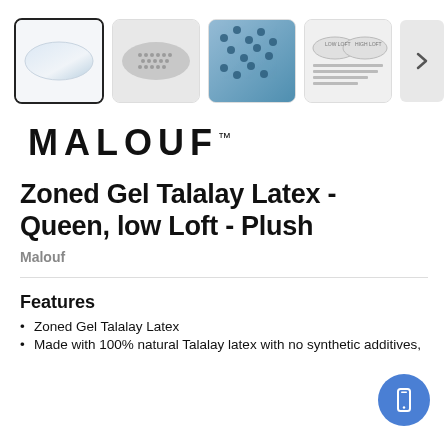[Figure (screenshot): Four product thumbnail images of a pillow: white pillow, dot-grid pillow, close-up blue perforated latex surface, and a diagram showing two pillow zones. A right arrow button is visible after the last thumbnail.]
[Figure (logo): MALOUF brand logo in large bold black letters with trademark symbol]
Zoned Gel Talalay Latex - Queen, low Loft - Plush
Malouf
Features
Zoned Gel Talalay Latex
Made with 100% natural Talalay latex with no synthetic additives,